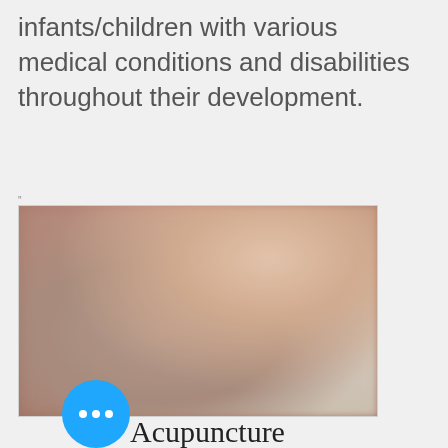infants/children with various medical conditions and disabilities throughout their development.
[Figure (photo): Blurred close-up photo of a person's jaw/neck/ear area against a light background]
Acupuncture